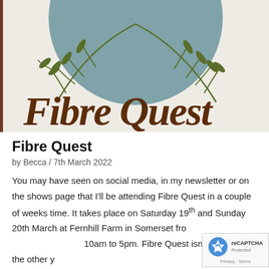[Figure (logo): Fibre Quest logo: teal/blue-grey circle with olive green leaf/botanical illustration overlaid, brown decorative text reading 'Fibre Quest' in italic serif font, on a light beige background with brown left border]
Fibre Quest
by Becca / 7th March 2022
You may have seen on social media, in my newsletter or on the shows page that I'll be attending Fibre Quest in a couple of weeks time. It takes place on Saturday 19th and Sunday 20th March at Fernhill Farm in Somerset fro 10am to 5pm. Fibre Quest isn't quite like the other y